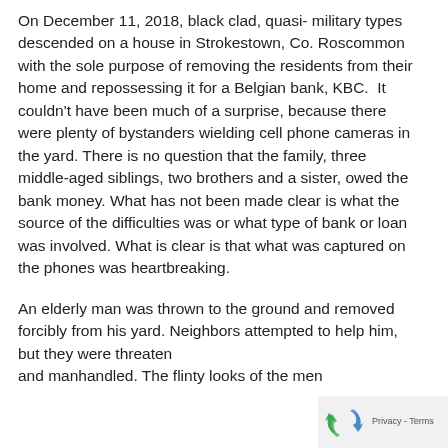On December 11, 2018, black clad, quasi- military types descended on a house in Strokestown, Co. Roscommon with the sole purpose of removing the residents from their home and repossessing it for a Belgian bank, KBC.  It couldn't have been much of a surprise, because there were plenty of bystanders wielding cell phone cameras in the yard. There is no question that the family, three middle-aged siblings, two brothers and a sister, owed the bank money. What has not been made clear is what the source of the difficulties was or what type of bank or loan was involved. What is clear is that what was captured on the phones was heartbreaking.
An elderly man was thrown to the ground and removed forcibly from his yard. Neighbors attempted to help him, but they were threatened and manhandled. The flinty looks of the men
[Figure (logo): Google reCAPTCHA privacy badge with logo and Privacy - Terms text]